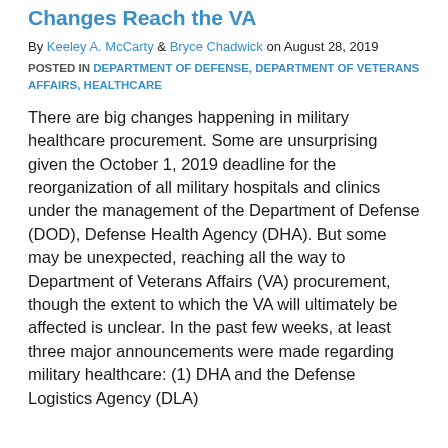Changes Reach the VA
By Keeley A. McCarty & Bryce Chadwick on August 28, 2019
POSTED IN DEPARTMENT OF DEFENSE, DEPARTMENT OF VETERANS AFFAIRS, HEALTHCARE
There are big changes happening in military healthcare procurement. Some are unsurprising given the October 1, 2019 deadline for the reorganization of all military hospitals and clinics under the management of the Department of Defense (DOD), Defense Health Agency (DHA). But some may be unexpected, reaching all the way to Department of Veterans Affairs (VA) procurement, though the extent to which the VA will ultimately be affected is unclear. In the past few weeks, at least three major announcements were made regarding military healthcare: (1) DHA and the Defense Logistics Agency (DLA)